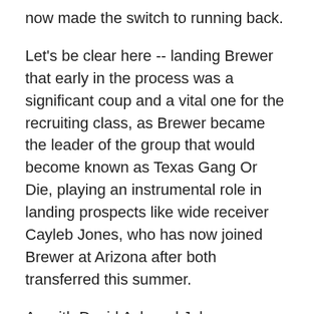now made the switch to running back.
Let's be clear here -- landing Brewer that early in the process was a significant coup and a vital one for the recruiting class, as Brewer became the leader of the group that would become known as Texas Gang Or Die, playing an instrumental role in landing prospects like wide receiver Cayleb Jones, who has now joined Brewer at Arizona after both transferred this summer.
As with David Ash and Johnny Manziel, the struggle for Texas is in identifying and recruiting players after their sophomore seasons, when Brewer first surfaced on the radar.  In the modern recruiting world, that's how it has to go down. It's not easy, and the Horns didn't necessarily have the manpower to make all those evaluations across the country. Or perhaps the